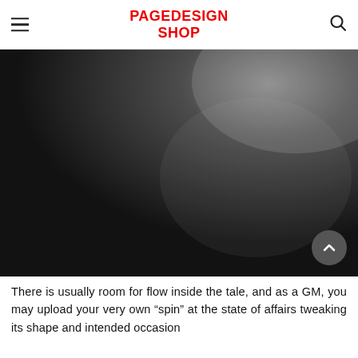PAGEDESIGN SHOP
[Figure (photo): Dark abstract image with gradient from black on the left and bottom to lighter grey on the upper right, used as a hero/banner image.]
There is usually room for flow inside the tale, and as a GM, you may upload your very own “spin” at the state of affairs tweaking its shape and intended occasion